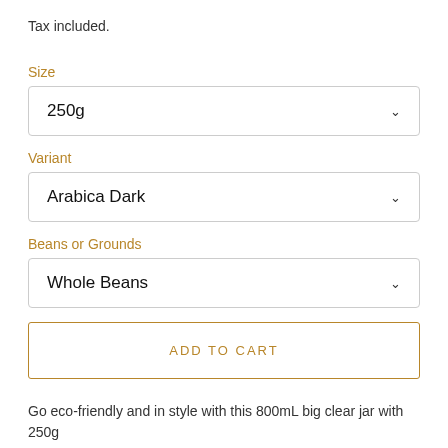Tax included.
Size
250g
Variant
Arabica Dark
Beans or Grounds
Whole Beans
ADD TO CART
Go eco-friendly and in style with this 800mL big clear jar with 250g